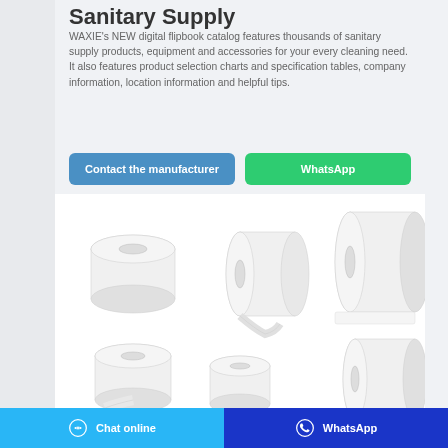Sanitary Supply
WAXIE's NEW digital flipbook catalog features thousands of sanitary supply products, equipment and accessories for your every cleaning need. It also features product selection charts and specification tables, company information, location information and helpful tips.
[Figure (other): Blue 'Contact the manufacturer' button and green 'WhatsApp' button side by side]
[Figure (photo): Various paper towel and toilet paper rolls arranged in two rows on white background]
Chat online   WhatsApp